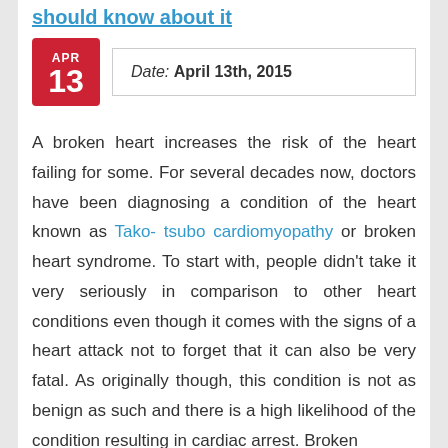should know about it
| Date |
| --- |
| April 13th, 2015 |
A broken heart increases the risk of the heart failing for some. For several decades now, doctors have been diagnosing a condition of the heart known as Tako- tsubo cardiomyopathy or broken heart syndrome. To start with, people didn't take it very seriously in comparison to other heart conditions even though it comes with the signs of a heart attack not to forget that it can also be very fatal. As originally though, this condition is not as benign as such and there is a high likelihood of the condition resulting in cardiac arrest. Broken